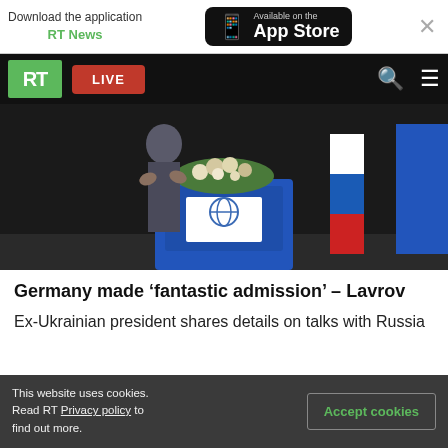[Figure (screenshot): App Store download banner with 'Download the application RT News' text and App Store button]
Download the application RT News | Available on the App Store
[Figure (screenshot): RT website navigation bar with green RT logo, red LIVE button, search and menu icons]
[Figure (photo): Person speaking at a blue podium with a flower arrangement, Russian flag and another flag visible in the background]
Germany made ‘fantastic admission’ – Lavrov
Ex-Ukrainian president shares details on talks with Russia
This website uses cookies. Read RT Privacy policy to find out more.